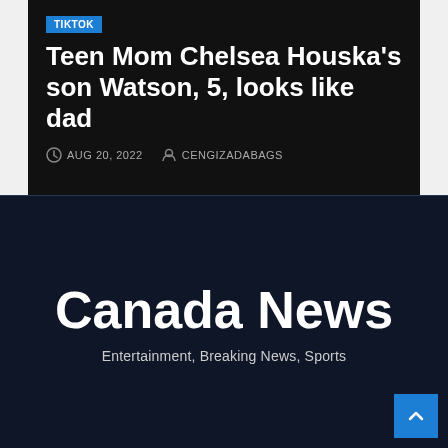TIKTOK
Teen Mom Chelsea Houska's son Watson, 5, looks like dad
AUG 20, 2022  CENGIZADABAGS
Canada News
Entertainment, Breaking News, Sports